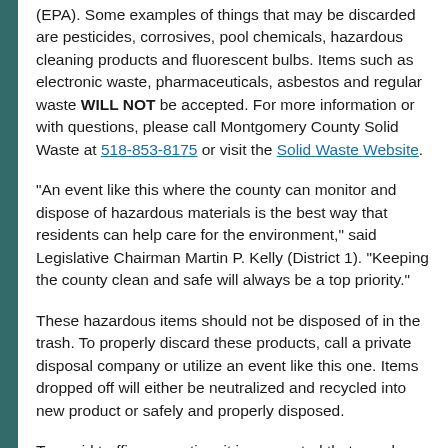(EPA). Some examples of things that may be discarded are pesticides, corrosives, pool chemicals, hazardous cleaning products and fluorescent bulbs. Items such as electronic waste, pharmaceuticals, asbestos and regular waste WILL NOT be accepted. For more information or with questions, please call Montgomery County Solid Waste at 518-853-8175 or visit the Solid Waste Website.
"An event like this where the county can monitor and dispose of hazardous materials is the best way that residents can help care for the environment," said Legislative Chairman Martin P. Kelly (District 1). "Keeping the county clean and safe will always be a top priority."
These hazardous items should not be disposed of in the trash. To properly discard these products, call a private disposal company or utilize an event like this one. Items dropped off will either be neutralized and recycled into new product or safely and properly disposed.
To avoid traffic congestion, it is suggested that people